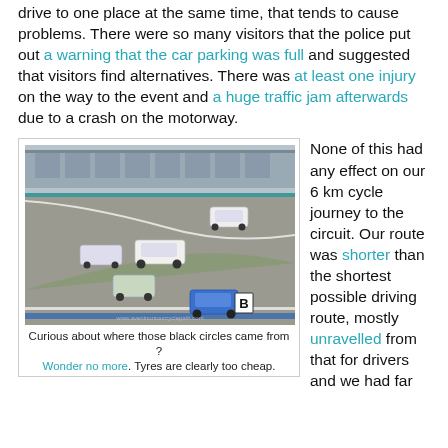drive to one place at the same time, that tends to cause problems. There were so many visitors that the police put out a warning that the car parking was full and suggested that visitors find alternatives. There was at least one injury on the way to the event and a huge traffic jam afterwards due to a crash on the motorway.
[Figure (photo): Photo of vintage racing cars on a circuit track, taken from a high angle. Multiple classic cars navigating a curve on the racetrack, with grandstands visible in the background.]
Curious about where those black circles came from ? Wonder no more. Tyres are clearly too cheap.
None of this had any effect on our 6 km cycle journey to the circuit. Our route was shorter than the shortest possible driving route, mostly unravelled from that for drivers and we had far